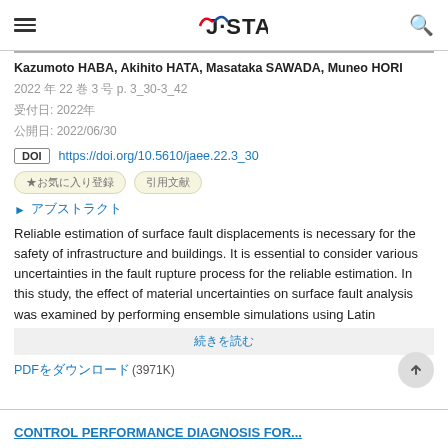J-STAGE
Kazumoto HABA, Akihito HATA, Masataka SAWADA, Muneo HORI
2022 年 22 巻 3 号 p. 3_30-3_42
受付日: 2022年
公開日: 2022/06/30
DOI https://doi.org/10.5610/jaee.22.3_30
★お気に入り登録 引用文献
▶ アブストラクト
Reliable estimation of surface fault displacements is necessary for the safety of infrastructure and buildings. It is essential to consider various uncertainties in the fault rupture process for the reliable estimation. In this study, the effect of material uncertainties on surface fault analysis was examined by performing ensemble simulations using Latin
続きを読む
PDFをダウンロード (3971K)
CONTROL PERFORMANCE DIAGNOSIS FOR...